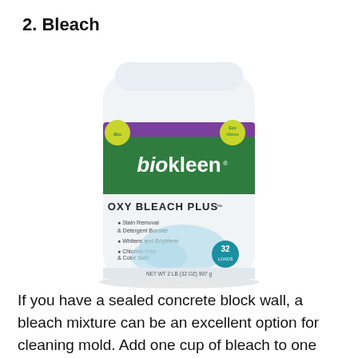2. Bleach
[Figure (photo): A white cylindrical container of Biokleen Oxy Bleach Plus product with a green label, showing product details and usage information.]
If you have a sealed concrete block wall, a bleach mixture can be an excellent option for cleaning mold. Add one cup of bleach to one gallon of water and stir to combine. Next, pour the mixture into a spray bottle for easy